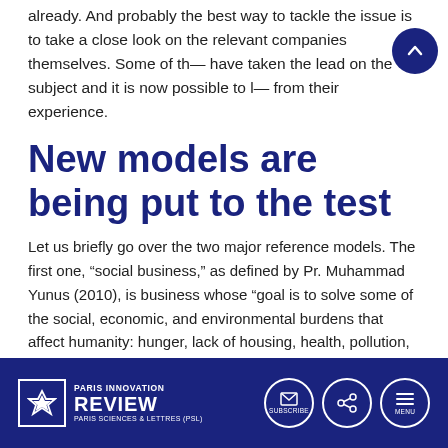already. And probably the best way to tackle the issue is to take a close look on the relevant companies themselves. Some of them have taken the lead on the subject and it is now possible to learn from their experience.
New models are being put to the test
Let us briefly go over the two major reference models. The first one, “social business,” as defined by Pr. Muhammad Yunus (2010), is business whose “goal is to solve some of the social, economic, and environmental burdens that affect humanity: hunger, lack of housing, health, pollution, ignorance...” Organizations created for this purpose should in principle generate profits; however these profits, in Pr.Yunus’ strict
PARIS INNOVATION REVIEW | PARIS SCIENCES & LETTRES (PSL)